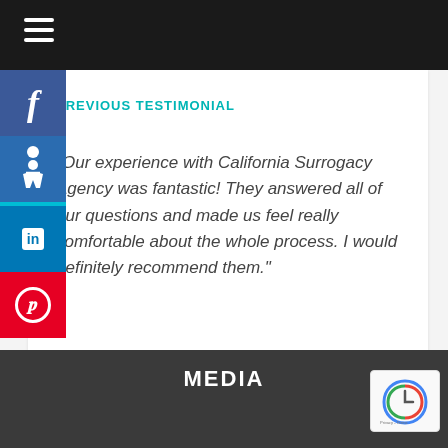Navigation bar with hamburger menu
PREVIOUS TESTIMONIAL
Our experience with California Surrogacy Agency was fantastic! They answered all of our questions and made us feel really comfortable about the whole process. I would definitely recommend them."
MEDIA